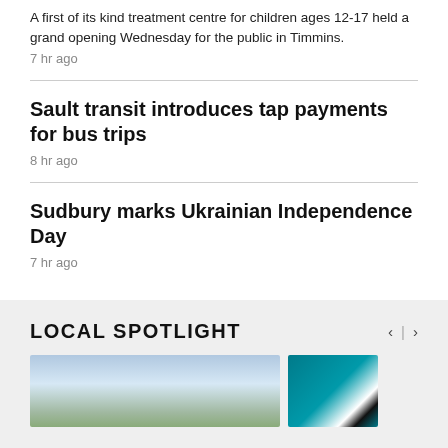A first of its kind treatment centre for children ages 12-17 held a grand opening Wednesday for the public in Timmins.
7 hr ago
Sault transit introduces tap payments for bus trips
8 hr ago
Sudbury marks Ukrainian Independence Day
7 hr ago
LOCAL SPOTLIGHT
[Figure (photo): Thumbnail image showing sky and landscape]
[Figure (photo): Thumbnail image with teal background and geometric shapes]